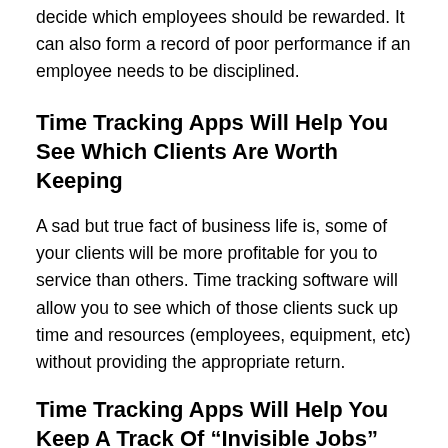decide which employees should be rewarded. It can also form a record of poor performance if an employee needs to be disciplined.
Time Tracking Apps Will Help You See Which Clients Are Worth Keeping
A sad but true fact of business life is, some of your clients will be more profitable for you to service than others. Time tracking software will allow you to see which of those clients suck up time and resources (employees, equipment, etc) without providing the appropriate return.
Time Tracking Apps Will Help You Keep A Track Of “Invisible Jobs”